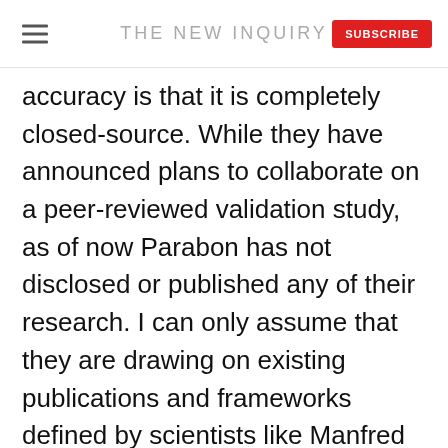THE NEW INQUIRY
accuracy is that it is completely closed-source. While they have announced plans to collaborate on a peer-reviewed validation study, as of now Parabon has not disclosed or published any of their research. I can only assume that they are drawing on existing publications and frameworks defined by scientists like Manfred Kayser and biological anthropologists like Mark Shriver who have published widely on the subject. There currently